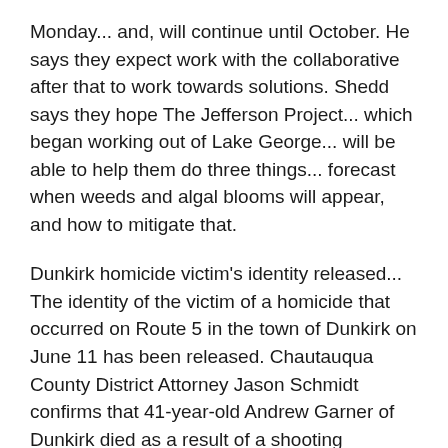Monday... and, will continue until October.  He says they expect work with the collaborative after that to work towards solutions.  Shedd says they hope The Jefferson Project... which began working out of Lake George... will be able to help them do three things... forecast when weeds and algal blooms will appear, and how to mitigate that.
Dunkirk homicide victim's identity released...
The identity of the victim of a homicide that occurred on Route 5 in the town of Dunkirk on June 11 has been released.  Chautauqua County District Attorney Jason Schmidt confirms that 41-year-old Andrew Garner of Dunkirk died as a result of a shooting incident.  Schmidt says the State Police Bureau of Criminal Investigation, and the Forensic Identification Unit are actively investigating the incident.